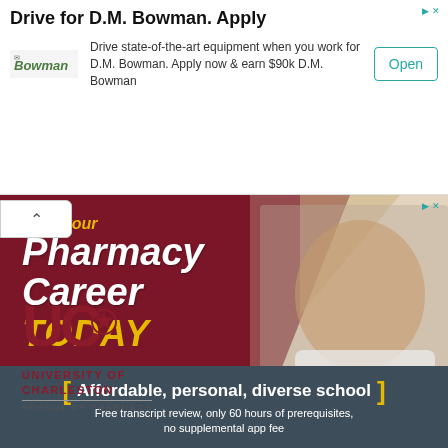[Figure (infographic): D.M. Bowman job advertisement banner with Bowman logo, title 'Drive for D.M. Bowman. Apply', description text about driving state-of-the-art equipment and earning $90k, and an Open button.]
[Figure (infographic): University of Charleston School of Pharmacy advertisement showing a smiling man in a white coat with stethoscope, maroon diamond shape background, text 'Start your Pharmacy Career TODAY', and UC logo with university name.]
Affordable, personal, diverse school Free transcript review, only 60 hours of prerequisites, no supplemental app fee